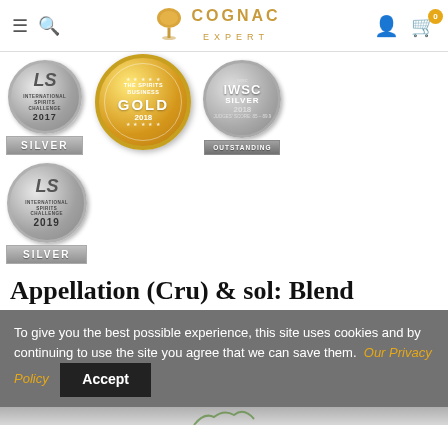[Figure (logo): Cognac Expert website header with hamburger menu, search icon, Cognac Expert logo (glass icon + gold lettering), user icon, and cart icon with badge showing 0]
[Figure (other): Award medals row 1: International Spirits Challenge 2017 Silver medal, The Spirits Business Gold 2018 medal, IWSC Silver 2018 Outstanding medal]
[Figure (other): Award medals row 2: International Spirits Challenge 2019 Silver medal]
Appellation (Cru) & sol: Blend
To give you the best possible experience, this site uses cookies and by continuing to use the site you agree that we can save them. Our Privacy Policy  Accept